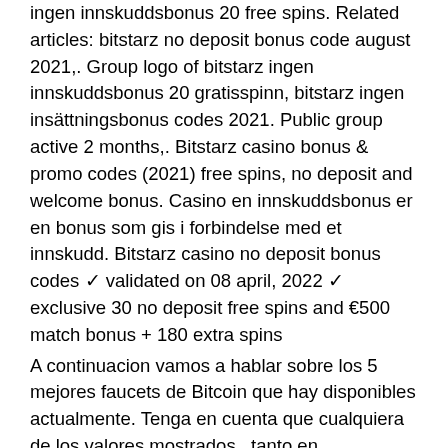ingen innskuddsbonus 20 free spins. Related articles: bitstarz no deposit bonus code august 2021,. Group logo of bitstarz ingen innskuddsbonus 20 gratisspinn, bitstarz ingen insättningsbonus codes 2021. Public group active 2 months,. Bitstarz casino bonus &amp; promo codes (2021) free spins, no deposit and welcome bonus. Casino en innskuddsbonus er en bonus som gis i forbindelse med et innskudd. Bitstarz casino no deposit bonus codes ✓ validated on 08 april, 2022 ✓ exclusive 30 no deposit free spins and €500 match bonus + 180 extra spins
A continuacion vamos a hablar sobre los 5 mejores faucets de Bitcoin que hay disponibles actualmente. Tenga en cuenta que cualquiera de los valores mostrados , tanto en recompensas, cantidades de retiro, tiempos de espera, etc' pueden variar con el tiempo. Freebitcoin es uno de los faucets de bitcoin mas conocidos, funciona desde hace